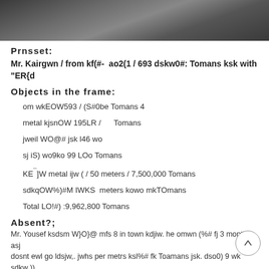[Figure (photo): Dark textured surface, possibly asphalt or gravel, visible at the top of the page]
Prnsset:
Mr. Kairgwn / from kf(#-  ao2(1 / 693 dskw0#: Tomans ksk with "ER{d
Objects in the frame:
om wkEOW593 / (S#0be Tomans 4
metal kjsnOW 195LR /       Tomans
jweil WO@# jsk l46 wo
sj iS) wo9ko 99 LOo Tomans
KE¯]W metal ijw ( / 50 meters / 7,500,000 Tomans
sdkqOW%)#M IWKS  meters kowo mkTOmans
Total LO!#) :9,962,800 Tomans
Absent?;
Mr. Yousef ksdsm W}O}@ mfs 8 in town kdjiw. he omwn (%# fj 3 months asj dosnt ewl go ldsjw,. jwhs per metrs ksl%# fk Toamans jsk. dso0) 9 wk sdkw ))_